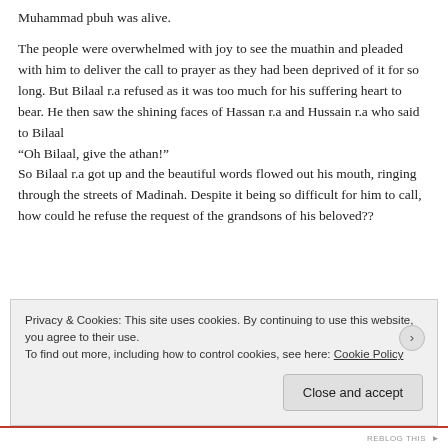Muhammad pbuh was alive.
The people were overwhelmed with joy to see the muathin and pleaded with him to deliver the call to prayer as they had been deprived of it for so long. But Bilaal r.a refused as it was too much for his suffering heart to bear. He then saw the shining faces of Hassan r.a and Hussain r.a who said to Bilaal
“Oh Bilaal, give the athan!”
So Bilaal r.a got up and the beautiful words flowed out his mouth, ringing through the streets of Madinah. Despite it being so difficult for him to call, how could he refuse the request of the grandsons of his beloved??
Privacy & Cookies: This site uses cookies. By continuing to use this website, you agree to their use.
To find out more, including how to control cookies, see here: Cookie Policy
Close and accept